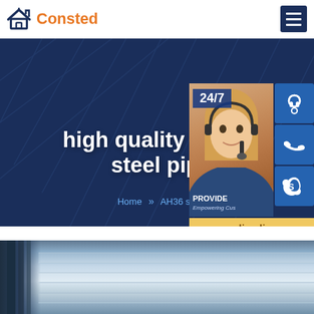[Figure (logo): Consted logo with house icon in navy blue and orange text]
high quality cement steel pipe
Home » AH36 steel
[Figure (photo): Customer service representative with headset, support widget with 24/7, phone icon, Skype icon, and online live button. Text: PROVIDE, Empowering Customers]
[Figure (photo): Steel pipe or sheet metal stacked in industrial warehouse setting]